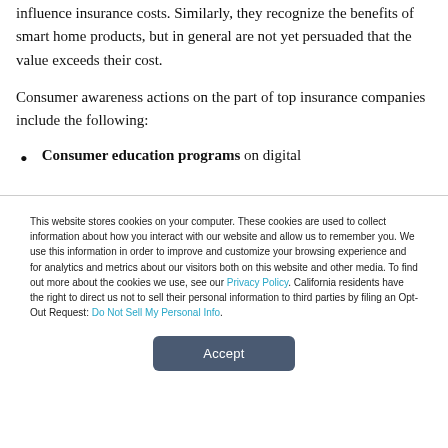influence insurance costs. Similarly, they recognize the benefits of smart home products, but in general are not yet persuaded that the value exceeds their cost.
Consumer awareness actions on the part of top insurance companies include the following:
Consumer education programs on digital
This website stores cookies on your computer. These cookies are used to collect information about how you interact with our website and allow us to remember you. We use this information in order to improve and customize your browsing experience and for analytics and metrics about our visitors both on this website and other media. To find out more about the cookies we use, see our Privacy Policy. California residents have the right to direct us not to sell their personal information to third parties by filing an Opt-Out Request: Do Not Sell My Personal Info.